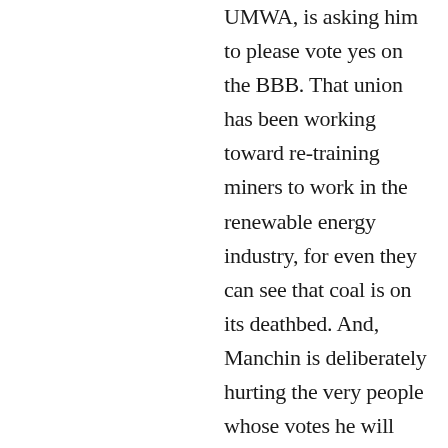UMWA, is asking him to please vote yes on the BBB. That union has been working toward re-training miners to work in the renewable energy industry, for even they can see that coal is on its deathbed. And, Manchin is deliberately hurting the very people whose votes he will want in